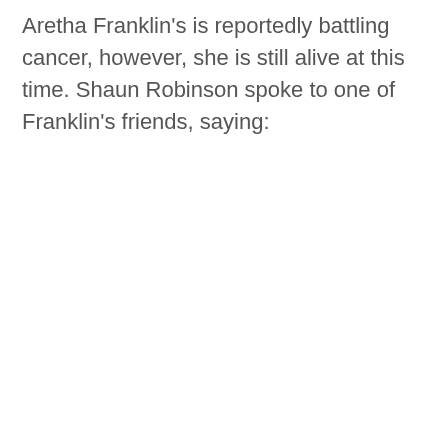Aretha Franklin's is reportedly battling cancer, however, she is still alive at this time. Shaun Robinson spoke to one of Franklin's friends, saying: